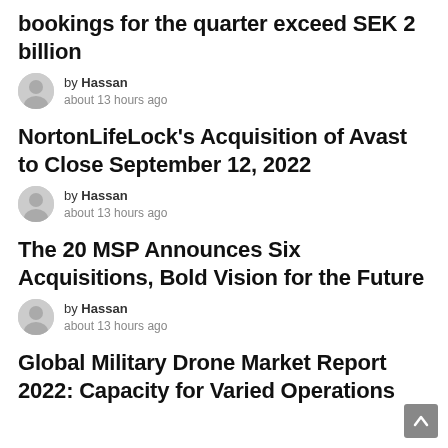bookings for the quarter exceed SEK 2 billion
by Hassan about 13 hours ago
NortonLifeLock's Acquisition of Avast to Close September 12, 2022
by Hassan about 13 hours ago
The 20 MSP Announces Six Acquisitions, Bold Vision for the Future
by Hassan about 13 hours ago
Global Military Drone Market Report 2022: Capacity for Varied Operations